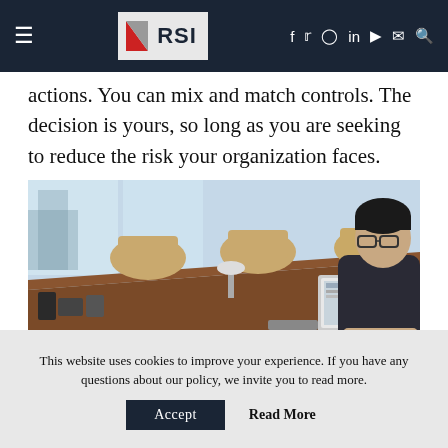RSI
actions. You can mix and match controls. The decision is yours, so long as you are seeking to reduce the risk your organization faces.
[Figure (photo): A man in a dark shirt sitting at a conference room table working on a laptop, with empty chairs visible behind him and large windows in the background.]
This website uses cookies to improve your experience. If you have any questions about our policy, we invite you to read more.
Accept   Read More